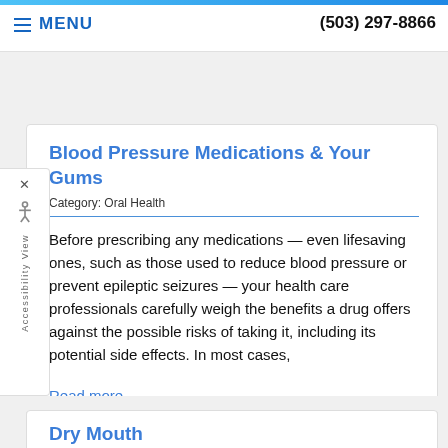MENU  (503) 297-8866
Blood Pressure Medications & Your Gums
Category: Oral Health
Before prescribing any medications — even lifesaving ones, such as those used to reduce blood pressure or prevent epileptic seizures — your health care professionals carefully weigh the benefits a drug offers against the possible risks of taking it, including its potential side effects. In most cases,
Read more
Dry Mouth